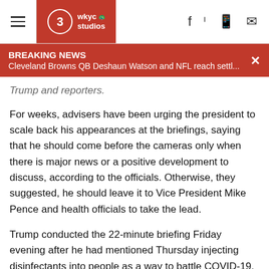≡ | 3 wkyc studios | f 🐦 📱 ✉
BREAKING NEWS
Cleveland Browns QB Deshaun Watson and NFL reach settl...
Trump and reporters.
For weeks, advisers have been urging the president to scale back his appearances at the briefings, saying that he should come before the cameras only when there is major news or a positive development to discuss, according to the officials. Otherwise, they suggested, he should leave it to Vice President Mike Pence and health officials to take the lead.
Trump conducted the 22-minute briefing Friday evening after he had mentioned Thursday injecting disinfectants into people as a way to battle COVID-19. There are reports of people calling hotlines to ask about the internal use of disinfectants and the makers of Lysol and Clorox issued warnings.